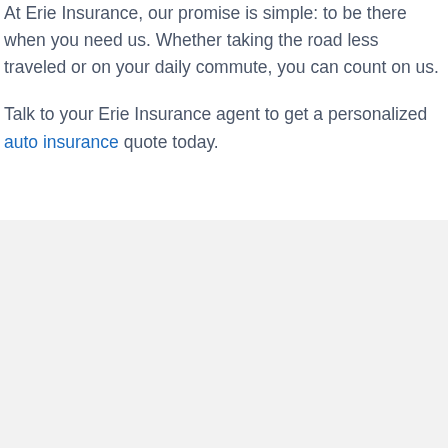At Erie Insurance, our promise is simple: to be there when you need us. Whether taking the road less traveled or on your daily commute, you can count on us.
Talk to your Erie Insurance agent to get a personalized auto insurance quote today.
[Figure (logo): Erie Insurance logo: blue building icon with white house/steeple silhouette on left, 'Erie Insurance' bold black text on right with registered trademark symbol]
A better insurance experience starts with ERIE.